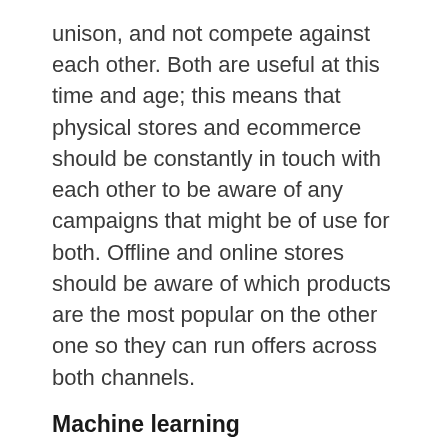unison, and not compete against each other. Both are useful at this time and age; this means that physical stores and ecommerce should be constantly in touch with each other to be aware of any campaigns that might be of use for both. Offline and online stores should be aware of which products are the most popular on the other one so they can run offers across both channels.
Machine learning
The advent of Artificial Intelligence has brought a lot of chances for ecommerce to improve its services. Mainly, a lot of online stores have started using chatbots with machine learning to